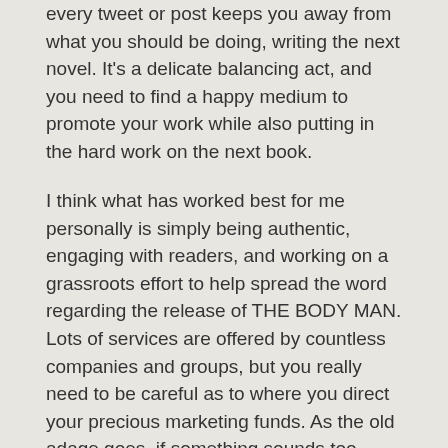every tweet or post keeps you away from what you should be doing, writing the next novel. It's a delicate balancing act, and you need to find a happy medium to promote your work while also putting in the hard work on the next book.
I think what has worked best for me personally is simply being authentic, engaging with readers, and working on a grassroots effort to help spread the word regarding the release of THE BODY MAN. Lots of services are offered by countless companies and groups, but you really need to be careful as to where you direct your precious marketing funds. As the old adage goes, if something sounds too good to be true, it probably is. I am proof, though, that you can get the word out about your book without investing a tremendous amount of financial resources. Authors need to find the approach that works